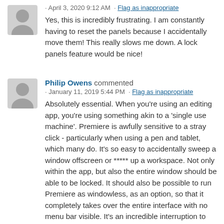· April 3, 2020 9:12 AM · Flag as inappropriate
Yes, this is incredibly frustrating. I am constantly having to reset the panels because I accidentally move them! This really slows me down. A lock panels feature would be nice!
Philip Owens commented
· January 11, 2019 5:44 PM · Flag as inappropriate
Absolutely essential. When you're using an editing app, you're using something akin to a 'single use machine'. Premiere is awfully sensitive to a stray click - particularly when using a pen and tablet, which many do. It's so easy to accidentally sweep a window offscreen or ***** up a workspace. Not only within the app, but also the entire window should be able to be locked. It should also be possible to run Premiere as windowless, as an option, so that it completely takes over the entire interface with no menu bar visible. It's an incredible interruption to one's work when you have to go and figure out where that window or tab went.